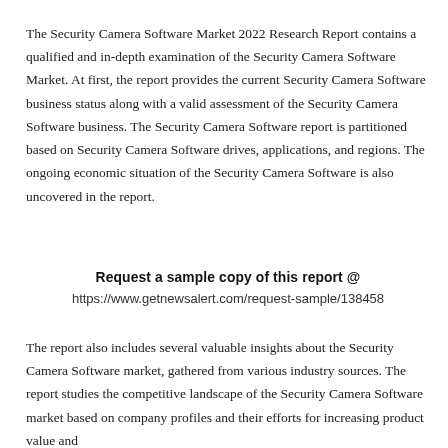The Security Camera Software Market 2022 Research Report contains a qualified and in-depth examination of the Security Camera Software Market. At first, the report provides the current Security Camera Software business status along with a valid assessment of the Security Camera Software business. The Security Camera Software report is partitioned based on Security Camera Software drives, applications, and regions. The ongoing economic situation of the Security Camera Software is also uncovered in the report.
Request a sample copy of this report @ https://www.getnewsalert.com/request-sample/138458
The report also includes several valuable insights about the Security Camera Software market, gathered from various industry sources. The report studies the competitive landscape of the Security Camera Software market based on company profiles and their efforts for increasing product value and